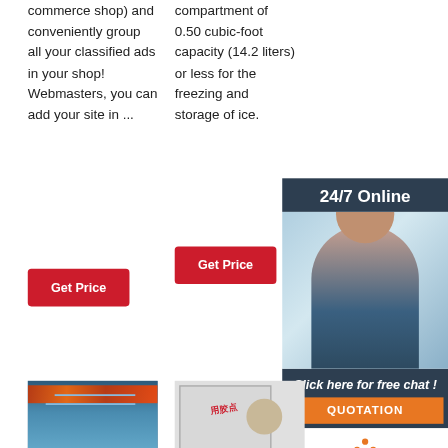commerce shop) and conveniently group all your classified ads in your shop! Webmasters, you can add your site in ...
compartment of 0.50 cubic-foot capacity (14.2 liters) or less for the freezing and storage of ice.
[Figure (other): Red Get Price button (left column)]
[Figure (other): Red Get Price button (center column)]
[Figure (other): 24/7 Online customer support panel with woman wearing headset]
[Figure (photo): Industrial machine with blue panels and orange/red equipment in background]
[Figure (photo): White framed display box with adhesive products labeled 用胶点]
[Figure (other): Click here for free chat / QUOTATION panel with TOP logo]
Policies - BioMed Central
Our corporate policies ensure that
Subaru EE20 Diesel Engine -
Fundamentals of Mechanical